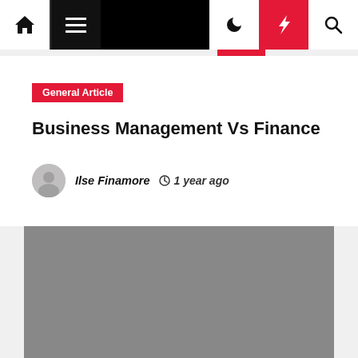Navigation bar with home, menu, dark mode, flash, and search icons
General Article
Business Management Vs Finance
Ilse Finamore  1 year ago
[Figure (photo): Gray placeholder image for the article about Business Management Vs Finance]